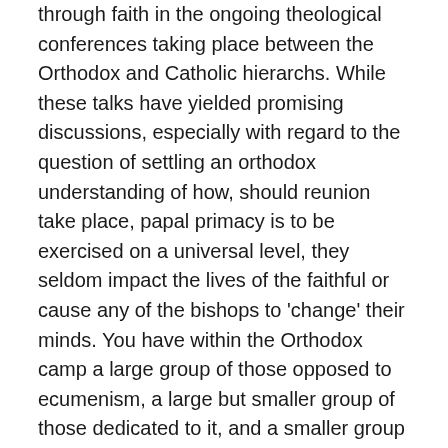through faith in the ongoing theological conferences taking place between the Orthodox and Catholic hierarchs. While these talks have yielded promising discussions, especially with regard to the question of settling an orthodox understanding of how, should reunion take place, papal primacy is to be exercised on a universal level, they seldom impact the lives of the faithful or cause any of the bishops to 'change' their minds. You have within the Orthodox camp a large group of those opposed to ecumenism, a large but smaller group of those dedicated to it, and a smaller group of people like myself who see the benefits to ongoing discussions but retain a high degree of skepticism that they will produce any lasting fruit. Rather, the easiest and most natural way for East and West to grow closer is for ordinary faithful of the Roman and Orthodox Churches to introduce each other